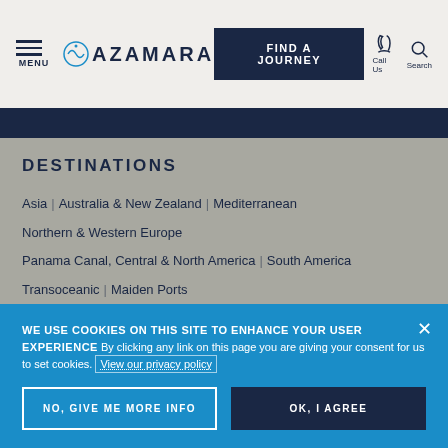MENU | AZAMARA | FIND A JOURNEY | Call Us | Search
DESTINATIONS
Asia
Australia & New Zealand
Mediterranean
Northern & Western Europe
Panama Canal, Central & North America
South America
Transoceanic
Maiden Ports
DISCOVER
WE USE COOKIES ON THIS SITE TO ENHANCE YOUR USER EXPERIENCE By clicking any link on this page you are giving your consent for us to set cookies. View our privacy policy
NO, GIVE ME MORE INFO
OK, I AGREE